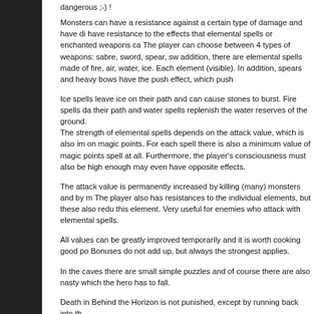dangerous ;-) !
Monsters can have a resistance against a certain type of damage and have di... have resistance to the effects that elemental spells or enchanted weapons ca... The player can choose between 4 types of weapons: sabre, sword, spear, sw... addition, there are elemental spells made of fire, air, water, ice. Each element (visible). In addition, spears and heavy bows have the push effect, which push...
Ice spells leave ice on their path and can cause stones to burst. Fire spells d... their path and water spells replenish the water reserves of the ground. The strength of elemental spells depends on the attack value, which is also im... on magic points. For each spell there is also a minimum value of magic points spell at all. Furthermore, the player's consciousness must also be high enough may even have opposite effects.
The attack value is permanently increased by killing (many) monsters and by n... The player also has resistances to the individual elements, but these also redu... this element. Very useful for enemies who attack with elemental spells.
All values can be greatly improved temporarily and it is worth cooking good po... Bonuses do not add up, but always the strongest applies.
In the caves there are small simple puzzles and of course there are also nasty... which the hero has to fall.
Death in Behind the Horizon is not punished, except by running back into th...